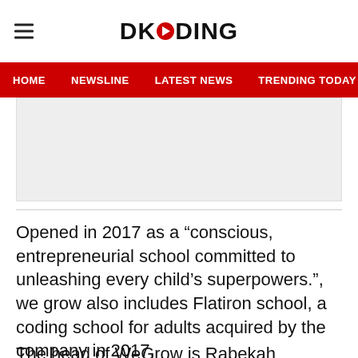DKODING
HOME   NEWSLINE   LATEST NEWS   TRENDING TODAY   ENT
[Figure (other): Grey advertisement placeholder box]
Opened in 2017 as a “conscious, entrepreneurial school committed to unleashing every child’s superpowers.”, we grow also includes Flatiron school, a coding school for adults acquired by the company in 2017.
The head of WeGrow is Rabekah Neumann,